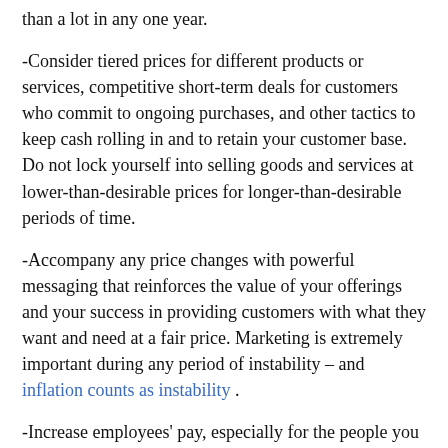than a lot in any one year.
-Consider tiered prices for different products or services, competitive short-term deals for customers who commit to ongoing purchases, and other tactics to keep cash rolling in and to retain your customer base. Do not lock yourself into selling goods and services at lower-than-desirable prices for longer-than-desirable periods of time.
-Accompany any price changes with powerful messaging that reinforces the value of your offerings and your success in providing customers with what they want and need at a fair price. Marketing is extremely important during any period of instability – and inflation counts as instability .
-Increase employees' pay, especially for the people you would be hard-pressed to do without. See what comparable employers in your region and industry are paying, and make sure you are at least holding your own. At the same time, let go of any employees whose performance is marginal, leaving you better equipped to compensate and retain the best.